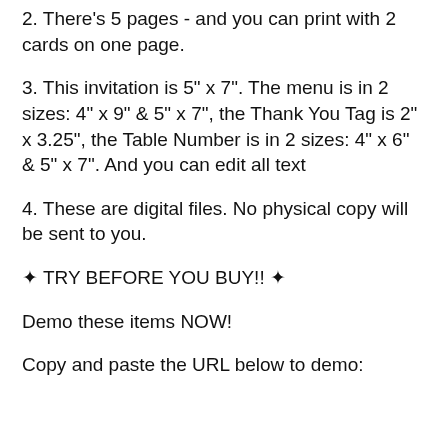2. There's 5 pages - and you can print with 2 cards on one page.
3. This invitation is 5" x 7". The menu is in 2 sizes: 4" x 9" & 5" x 7", the Thank You Tag is 2" x 3.25", the Table Number is in 2 sizes: 4" x 6" & 5" x 7". And you can edit all text
4. These are digital files. No physical copy will be sent to you.
✦ TRY BEFORE YOU BUY!! ✦
Demo these items NOW!
Copy and paste the URL below to demo: